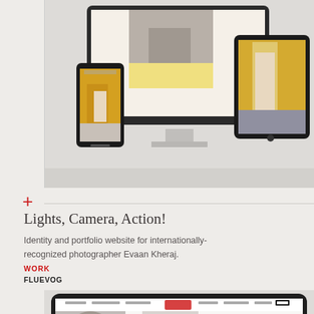[Figure (screenshot): Mockup showing a photography portfolio website displayed on a desktop monitor, smartphone, and tablet. The monitor shows a cream-colored website with a fashion photo. The phone shows a yellow taxi photo. The tablet shows a woman in white jeans beside a yellow cab.]
+
Lights, Camera, Action!
Identity and portfolio website for internationally-recognized photographer Evaan Kheraj.
WORK
FLUEVOG
[Figure (screenshot): Mockup of the Fluevog shoe brand website displayed on a large desktop monitor/tablet. Shows the Fluevog logo, navigation bar, stylized shoe photography, cursive text 'Arise', and large bold text 'BE PERFEC' (truncated). Decorative elements include a red horizontal stripe and a circular Fluevog logo badge.]